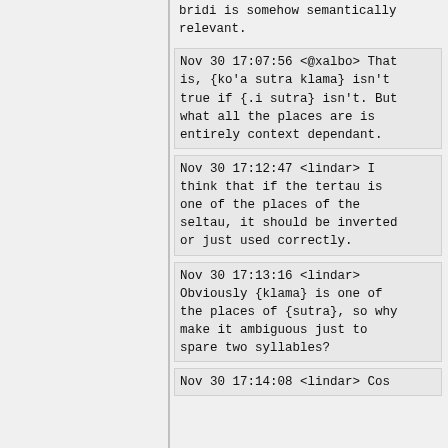bridi is somehow semantically relevant.
Nov 30 17:07:56 <@xalbo> That is, {ko'a sutra klama} isn't true if {.i sutra} isn't. But what all the places are is entirely context dependant.
Nov 30 17:12:47 <lindar> I think that if the tertau is one of the places of the seltau, it should be inverted or just used correctly.
Nov 30 17:13:16 <lindar> Obviously {klama} is one of the places of {sutra}, so why make it ambiguous just to spare two syllables?
Nov 30 17:14:08 <lindar> Cos